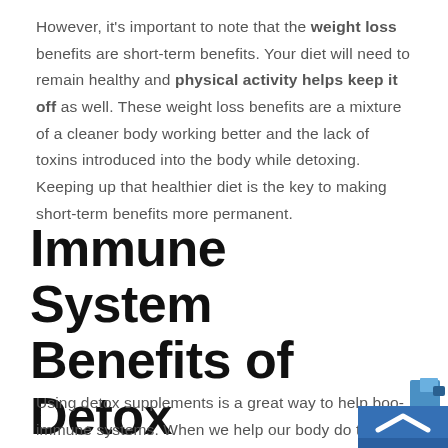However, it's important to note that the weight loss benefits are short-term benefits. Your diet will need to remain healthy and physical activity helps keep it off as well. These weight loss benefits are a mixture of a cleaner body working better and the lack of toxins introduced into the body while detoxing. Keeping up that healthier diet is the key to making short-term benefits more permanent.
Immune System Benefits of Detox Supplements
Using detox supplements is a great way to help boost our immune systems. When we help our body do the things...